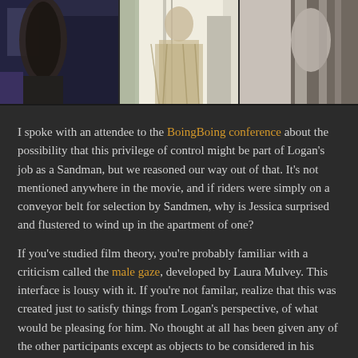[Figure (photo): Three side-by-side photos: left shows a person in a dark robe-like outfit in a blue-tinted room, center shows a person in a light fringe/tassel dress viewed from behind near a shower/glass door, right shows a partial view of another scene with metallic/reflective elements.]
I spoke with an attendee to the BoingBoing conference about the possibility that this privilege of control might be part of Logan’s job as a Sandman, but we reasoned our way out of that. It’s not mentioned anywhere in the movie, and if riders were simply on a conveyor belt for selection by Sandmen, why is Jessica surprised and flustered to wind up in the apartment of one?
If you’ve studied film theory, you’re probably familiar with a criticism called the male gaze, developed by Laura Mulvey. This interface is lousy with it. If you’re not familar, realize that this was created just to satisfy things from Logan’s perspective, of what would be pleasing for him. No thought at all has been given any of the other participants except as objects to be considered in his whim of instant sex.
When rethinking this, we should consciously redesign the system